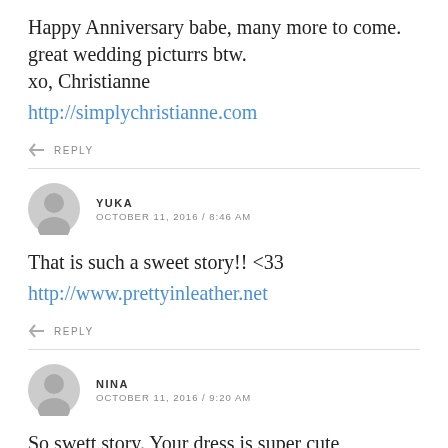Happy Anniversary babe, many more to come.
great wedding picturrs btw.
xo, Christianne
http://simplychristianne.com
REPLY
YUKA
OCTOBER 11, 2016 / 8:46 AM
That is such a sweet story!! <33
http://www.prettyinleather.net
REPLY
NINA
OCTOBER 11, 2016 / 9:20 AM
So swett story. Your dress is super cute